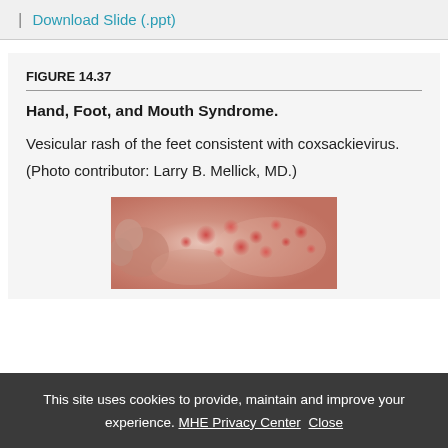| Download Slide (.ppt)
FIGURE 14.37
Hand, Foot, and Mouth Syndrome. Vesicular rash of the feet consistent with coxsackievirus. (Photo contributor: Larry B. Mellick, MD.)
[Figure (photo): Close-up photograph of the sole and toes of a foot showing a vesicular rash with reddish lesions consistent with coxsackievirus hand, foot, and mouth syndrome.]
This site uses cookies to provide, maintain and improve your experience. MHE Privacy Center Close